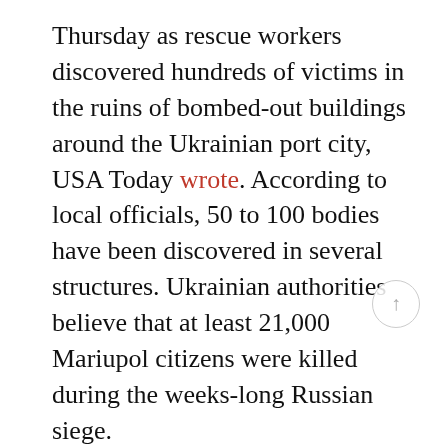Thursday as rescue workers discovered hundreds of victims in the ruins of bombed-out buildings around the Ukrainian port city, USA Today wrote. According to local officials, 50 to 100 bodies have been discovered in several structures. Ukrainian authorities believe that at least 21,000 Mariupol citizens were killed during the weeks-long Russian siege.
Ukrainian President Volodymyr Zelenskyy has warned that Russia's